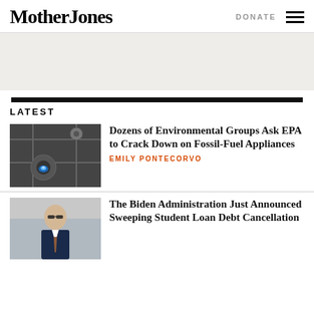Mother Jones | DONATE
[Figure (other): Advertisement banner area, light gray background]
LATEST
[Figure (photo): Close-up of a gas stove burner with blue flame on a metal grate]
Dozens of Environmental Groups Ask EPA to Crack Down on Fossil-Fuel Appliances
EMILY PONTECORVO
[Figure (photo): President Biden wearing sunglasses and a suit outdoors]
The Biden Administration Just Announced Sweeping Student Loan Debt Cancellation